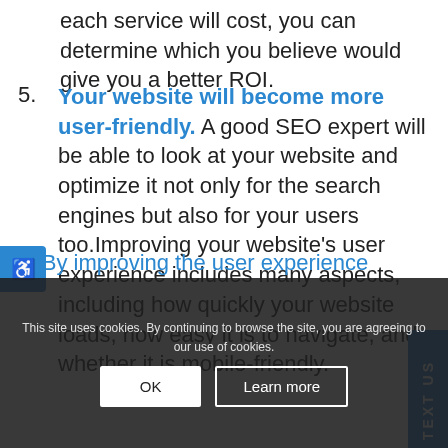each service will cost, you can determine which you believe would give you a better ROI.
5. Your website will become more user-friendly. A good SEO expert will be able to look at your website and optimize it not only for the search engines but also for your users too.Improving your website’s user experience includes many aspects, including how quickly your website loads, how easy it is to navigate, and whether it is mobile-friendly.
By improving the user experience
This site uses cookies. By continuing to browse the site, you are agreeing to our use of cookies.